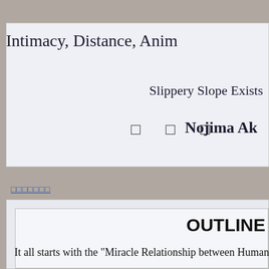Intimacy, Distance, Anim...
Slippery Slope Exists
□ □ □  Nojima Ak...
□□□□□□□
OUTLINE
It all starts with the "Miracle Relationship between Humansh...